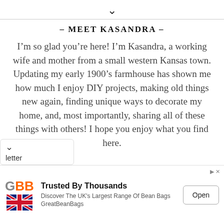[Figure (other): Down chevron arrow icon at the top center of the page]
– MEET KASANDRA –
I'm so glad you're here! I'm Kasandra, a working wife and mother from a small western Kansas town. Updating my early 1900's farmhouse has shown me how much I enjoy DIY projects, making old things new again, finding unique ways to decorate my home, and, most importantly, sharing all of these things with others! I hope you enjoy what you find here.
[Figure (other): Partially visible newsletter signup widget with down chevron and 'letter' text visible]
[Figure (other): Advertisement banner for GreatBeanBags featuring GBB logo with UK flag, text 'Trusted By Thousands - Discover The UK's Largest Range Of Bean Bags GreatBeanBags', and an 'Open' button]